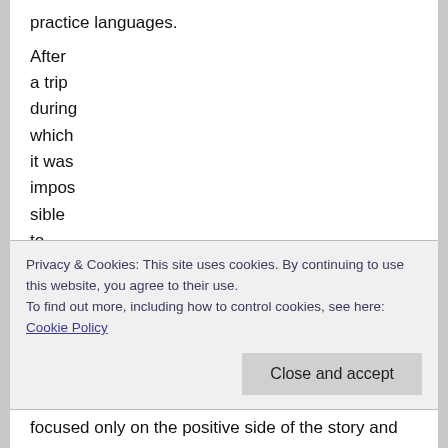practice languages.
After
a trip
during
which
it was
impos
sible
to
find a
pet-
friendl
y...
Privacy & Cookies: This site uses cookies. By continuing to use this website, you agree to their use.
To find out more, including how to control cookies, see here: Cookie Policy
focused only on the positive side of the story and